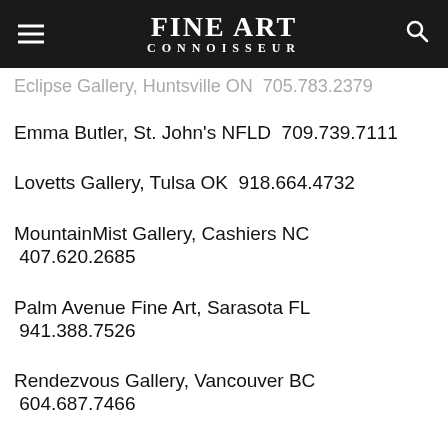FINE ART CONNOISSEUR
Eclipse Gallery, Huntsville ON  705.783.2379
Emma Butler, St. John's NFLD  709.739.7111
Lovetts Gallery, Tulsa OK  918.664.4732
MountainMist Gallery, Cashiers NC  407.620.2685
Palm Avenue Fine Art, Sarasota FL  941.388.7526
Rendezvous Gallery, Vancouver BC  604.687.7466
Spa Fine Art Ga…
[Figure (screenshot): Notification popup showing 'Cowboy Artists of America' article with thumbnail image, 6 hours ago]
Tilting Windmills Gallery, Manchester VT  802.362.3022